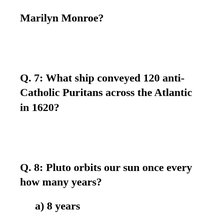Marilyn Monroe?
Q.  7:  What ship conveyed 120 anti-Catholic Puritans across the Atlantic in 1620?
Q.  8:  Pluto orbits our sun once every how many years?
a) 8 years